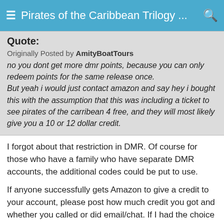Pirates of the Caribbean Trilogy ...
Quote:
Originally Posted by AmityBoatTours
no you dont get more dmr points, because you can only redeem points for the same release once. But yeah i would just contact amazon and say hey i bought this with the assumption that this was including a ticket to see pirates of the carribean 4 free, and they will most likely give you a 10 or 12 dollar credit.
I forgot about that restriction in DMR. Of course for those who have a family who have separate DMR accounts, the additional codes could be put to use.
If anyone successfully gets Amazon to give a credit to your account, please post how much credit you got and whether you called or did email/chat. If I had the choice between the movie ticket voucher or $10 or $12 credit, I'd take the latter because I could buy 2 matinees for that.